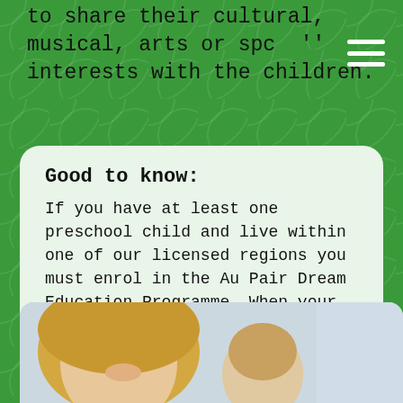to share their cultural, musical, arts or spo... interests with the children.
Good to know:
If you have at least one preschool child and live within one of our licensed regions you must enrol in the Au Pair Dream Education Programme. When your last child turns 5, you will be automatically transferred from our Dream Education Programme to our Buddy Programme. Any questions? Feel free to talk to your Placement Consultants.
[Figure (photo): A woman and a child looking at something together, smiling]